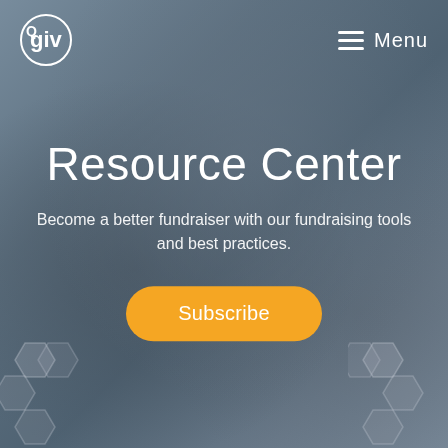[Figure (photo): Hero background image showing hands writing in a notebook, overlaid with a dark blue-gray semi-transparent overlay. Qgiv Resource Center landing page header with logo, menu button, title, subtitle, and subscribe button.]
Qgiv | Menu
Resource Center
Become a better fundraiser with our fundraising tools and best practices.
Subscribe